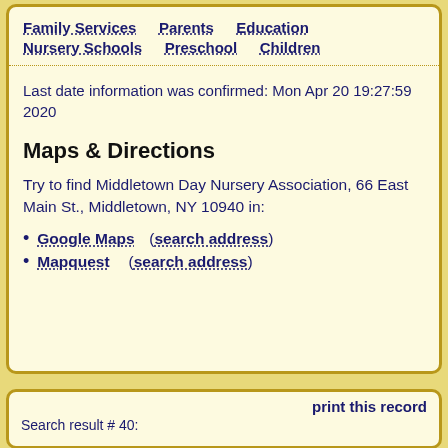Family Services   Parents   Education   Nursery Schools   Preschool   Children
Last date information was confirmed: Mon Apr 20 19:27:59 2020
Maps & Directions
Try to find Middletown Day Nursery Association, 66 East Main St., Middletown, NY 10940 in:
Google Maps   (search address)
Mapquest   (search address)
print this record
Search result # 40: